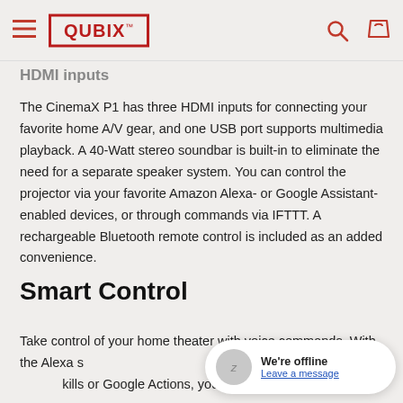QUBIX™
HDMI inputs
The CinemaX P1 has three HDMI inputs for connecting your favorite home A/V gear, and one USB port supports multimedia playback. A 40-Watt stereo soundbar is built-in to eliminate the need for a separate speaker system. You can control the projector via your favorite Amazon Alexa- or Google Assistant-enabled devices, or through commands via IFTTT. A rechargeable Bluetooth remote control is included as an added convenience.
Smart Control
Take control of your home theater with voice commands. With the Alexa s… skills or Google Actions, you can control your Smart+